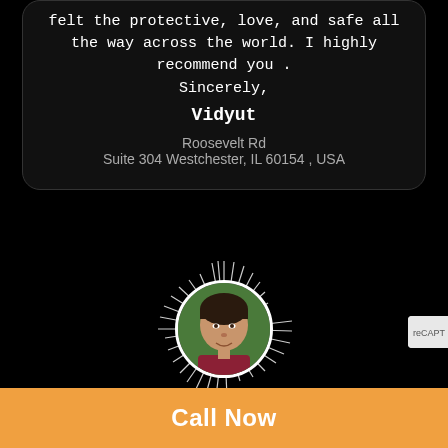felt the protective, love, and safe all the way across the world. I highly recommend you . Sincerely,
Vidyut
Roosevelt Rd
Suite 304 Westchester, IL 60154 , USA
[Figure (photo): Circular photo of a man with dark hair wearing a maroon shirt, surrounded by a sunburst/ray decoration in white lines on black background]
Call Now